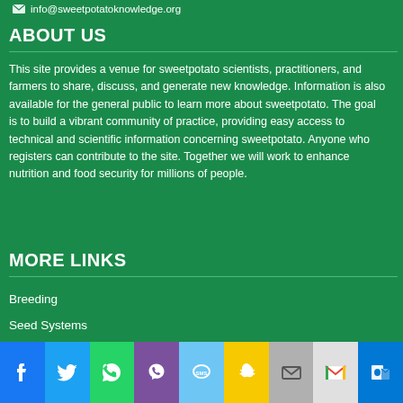info@sweetpotatoknowledge.org
ABOUT US
This site provides a venue for sweetpotato scientists, practitioners, and farmers to share, discuss, and generate new knowledge. Information is also available for the general public to learn more about sweetpotato. The goal is to build a vibrant community of practice, providing easy access to technical and scientific information concerning sweetpotato. Anyone who registers can contribute to the site. Together we will work to enhance nutrition and food security for millions of people.
MORE LINKS
Breeding
Seed Systems
Crop Management
[Figure (other): Social media sharing bar with icons: Facebook, Twitter, WhatsApp, Viber, SMS, Snapchat, Email, Gmail, Outlook]